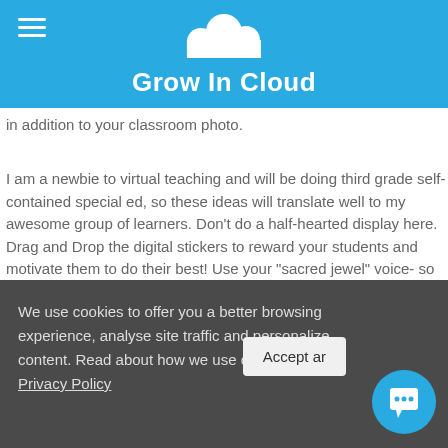Grow In Cloud
in addition to your classroom photo.
I am a newbie to virtual teaching and will be doing third grade self-contained special ed, so these ideas will translate well to my awesome group of learners. Don't do a half-hearted display here. Drag and Drop the digital stickers to reward your students and motivate them to do their best! Use your "sacred jewel" voice- so students really feel how special it is.
As a teacher-founded nonprofit, we're trusted by thousands of teachers and supporters across the country. Host a Virtual Party This reward can be run for a homeroom, a grade, a house, or an entire school. This immediate
We use cookies to offer you a better browsing experience, analyse site traffic and personalize content. Read about how we use cookies in our Privacy Policy